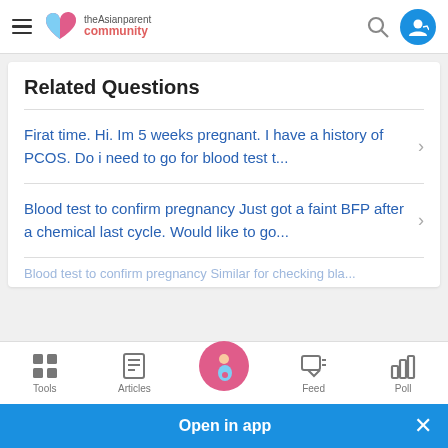theAsianparent community
Related Questions
Firat time. Hi. Im 5 weeks pregnant. I have a history of PCOS. Do i need to go for blood test t...
Blood test to confirm pregnancy Just got a faint BFP after a chemical last cycle. Would like to go...
Tools | Articles | Feed | Poll
Open in app